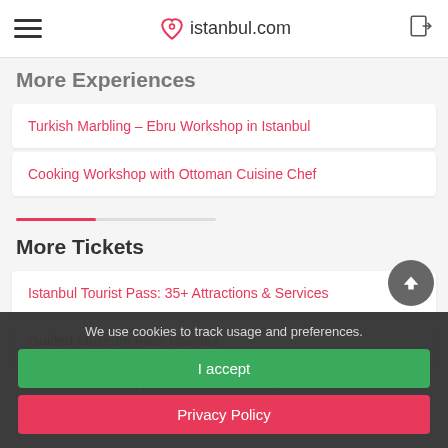istanbul.com
More Experiences
Turkish Marbling – Ebru Workshop in Istanbul
Cooking Workshop with Ottoman Cuisine Chef
More Tickets
Istanbul Tourist Pass: 35+ Attractions & Services
Guided Museum Pass Istanbul
Madame Tussauds Istanbul entrance tickets
Sealife Aquarium entrance ticket
We use cookies to track usage and preferences.
I accept
Privacy Policy